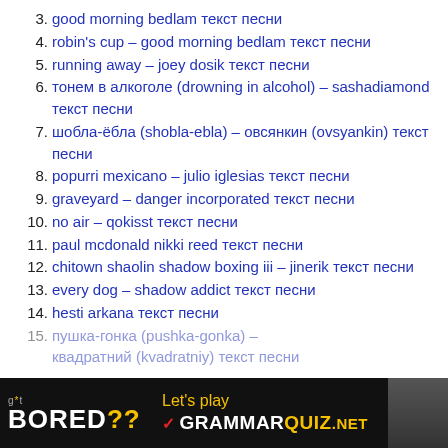3. good morning bedlam текст песни
4. robin's cup – good morning bedlam текст песни
5. running away – joey dosik текст песни
6. тонем в алкоголе (drowning in alcohol) – sashadiamond текст песни
7. шобла-ёбла (shobla-ebla) – овсянкин (ovsyankin) текст песни
8. popurri mexicano – julio iglesias текст песни
9. graveyard – danger incorporated текст песни
10. no air – qokisst текст песни
11. paul mcdonald nikki reed текст песни
12. chitown shaolin shadow boxing iii – jinerik текст песни
13. every dog – shadow addict текст песни
14. hesti arkana текст песни
15. пушка-гонка (pushka-gonka) – квадратний (kvadratniy) текст песни
[Figure (infographic): Footer banner: 'g*t BORED??' on black background with 'Let's play GRAMMARQUIZ.NET' text in yellow and white, and a photo of a person on the right.]